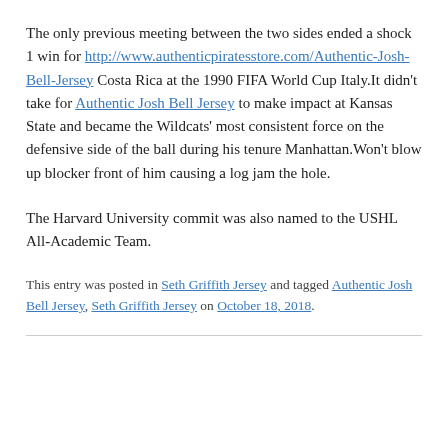The only previous meeting between the two sides ended a shock 1 win for http://www.authenticpiratesstore.com/Authentic-Josh-Bell-Jersey Costa Rica at the 1990 FIFA World Cup Italy.It didn't take for Authentic Josh Bell Jersey to make impact at Kansas State and became the Wildcats' most consistent force on the defensive side of the ball during his tenure Manhattan.Won't blow up blocker front of him causing a log jam the hole.
The Harvard University commit was also named to the USHL All-Academic Team.
This entry was posted in Seth Griffith Jersey and tagged Authentic Josh Bell Jersey, Seth Griffith Jersey on October 18, 2018.